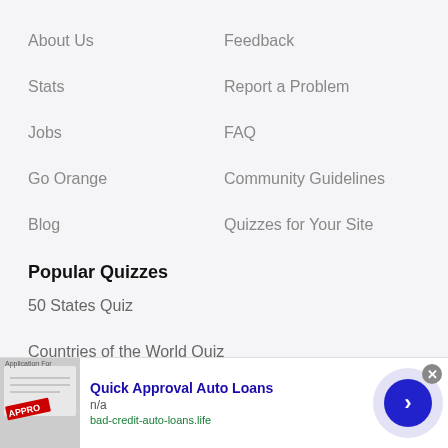About Us
Feedback
Stats
Report a Problem
Jobs
FAQ
Go Orange
Community Guidelines
Blog
Quizzes for Your Site
Popular Quizzes
50 States Quiz
Countries of the World Quiz
[Figure (other): Ad banner: Quick Approval Auto Loans, bad-credit-auto-loans.life, with an application form image showing APPRO stamp and a blue arrow button]